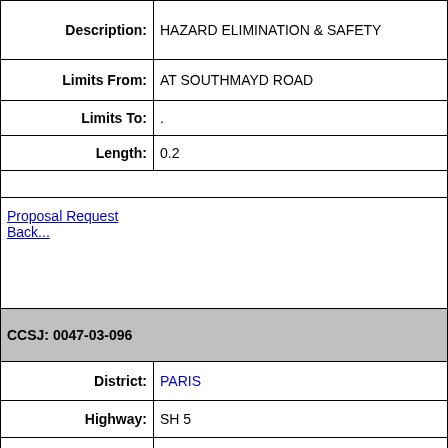| Description: | HAZARD ELIMINATION & SAFETY |
| Limits From: | AT SOUTHMAYD ROAD |
| Limits To: | . |
| Length: | 0.2 |
|  |  |
|  | Proposal Request
Back... |
| CCSJ: 0047-03-096 |  |
| District: | PARIS |
| Highway: | SH 5 |
| Project ID: | STP 2021(597)TAPS |
| Description: | BICYCLE AND PEDESTRIAN IMPROVEMENTS |
| Limits From: | NEWPORT DR AT PARTIN ELEMENTARY SCHOOL |